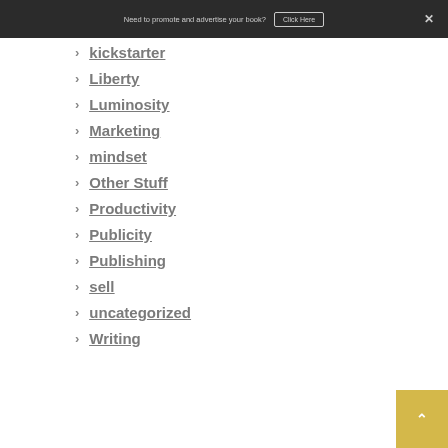Need to promote and advertise your book? Click Here ×
kickstarter
Liberty
Luminosity
Marketing
mindset
Other Stuff
Productivity
Publicity
Publishing
sell
uncategorized
Writing